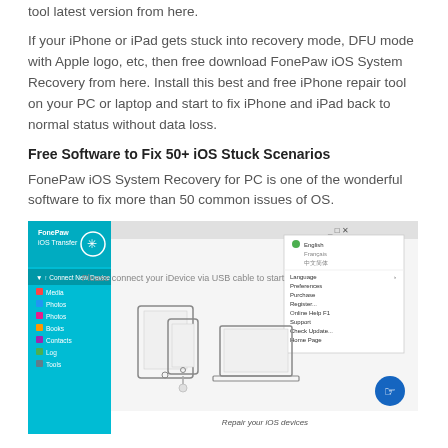tool latest version from here.
If your iPhone or iPad gets stuck into recovery mode, DFU mode with Apple logo, etc, then free download FonePaw iOS System Recovery from here. Install this best and free iPhone repair tool on your PC or laptop and start to fix iPhone and iPad back to normal status without data loss.
Free Software to Fix 50+ iOS Stuck Scenarios
FonePaw iOS System Recovery for PC is one of the wonderful software to fix more than 50 common issues of OS.
[Figure (screenshot): Screenshot of FonePaw iOS Transfer software interface showing a sidebar with options (Media, Photos, Books, Tools, Contacts, Log, Tools) and main area saying 'Please connect your iDevice via USB cable to start' with illustrations of iOS devices (iPad, iPhone, laptop). A dropdown menu showing Language, Preferences, Purchase, Register, Online Help, Support, Check Update, Home Page, Product Page, About. Caption: Repair your iOS devices]